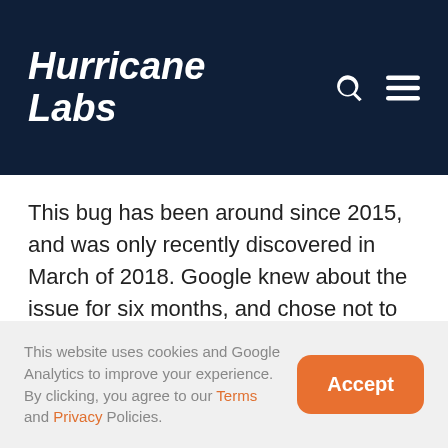Hurricane Labs
This bug has been around since 2015, and was only recently discovered in March of 2018. Google knew about the issue for six months, and chose not to disclose any information regarding the issue. This caused some security researchers to call out Google for hypocrisy regarding Project Zero, and their strict 90 day timeline, taking double that
This website uses cookies and Google Analytics to improve your experience. By clicking, you agree to our Terms and Privacy Policies.